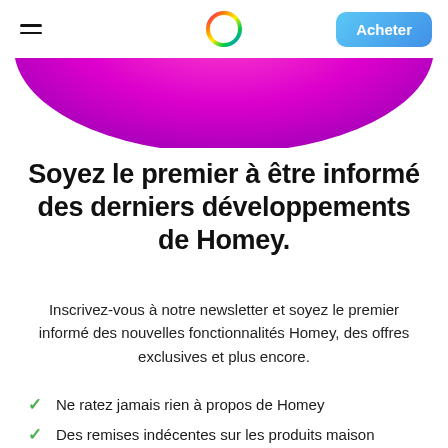≡  [Homey logo]  Acheter
[Figure (illustration): Magenta/purple arc shape at top of page, cropped circular element]
Soyez le premier à être informé des derniers développements de Homey.
Inscrivez-vous à notre newsletter et soyez le premier informé des nouvelles fonctionnalités Homey, des offres exclusives et plus encore.
Ne ratez jamais rien à propos de Homey
Des remises indécentes sur les produits maison